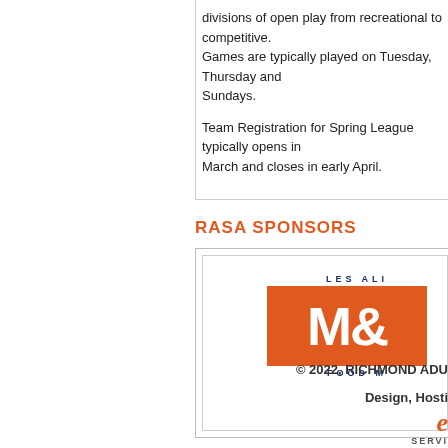divisions of open play from recreational to competitive. Games are typically played on Tuesday, Thursday and Sundays.
Team Registration for Spring League typically opens in March and closes in early April.
RASA SPONSORS
[Figure (logo): Partial logo showing 'LES ALI', 'M&' in white on orange background, 'FOOD M' below — Les Aliments M& food brand logo]
© 2022, RICHMOND ADU
Design, Hosti
[Figure (logo): Partial 'e' logo in orange italic with 'SERVI' text below]